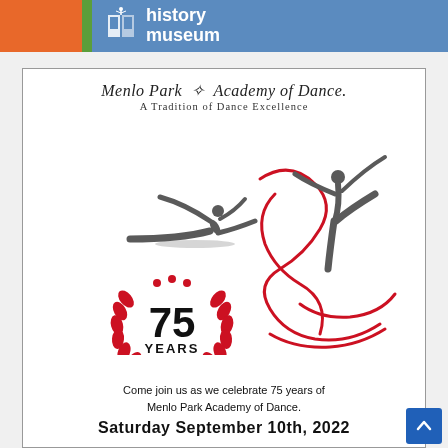[Figure (logo): Page header with orange block, green stripe, and blue museum banner with history museum logo and text]
[Figure (illustration): Advertisement for Menlo Park Academy of Dance 75th anniversary (1947-2022). Contains cursive studio name logo, tagline 'A Tradition of Dance Excellence', two grey dancer silhouettes, red ribbon swirl, red laurel wreath medallion with '75 YEARS 1947-2022', invitation text, and partial date.]
Come join us as we celebrate 75 years of Menlo Park Academy of Dance.
Saturday September 10th, 2022